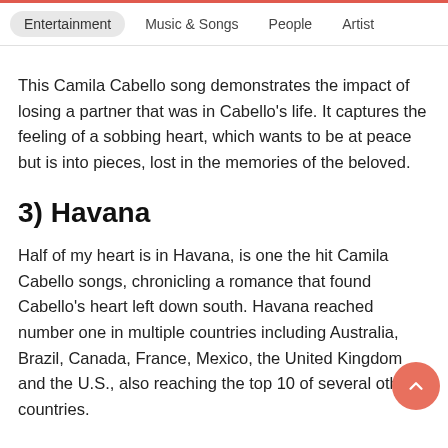Entertainment | Music & Songs | People | Artist
This Camila Cabello song demonstrates the impact of losing a partner that was in Cabello’s life. It captures the feeling of a sobbing heart, which wants to be at peace but is into pieces, lost in the memories of the beloved.
3) Havana
Half of my heart is in Havana, is one the hit Camila Cabello songs, chronicling a romance that found Cabello's heart left down south. Havana reached number one in multiple countries including Australia, Brazil, Canada, France, Mexico, the United Kingdom and the U.S., also reaching the top 10 of several other countries.